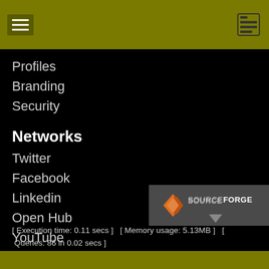Profiles
Branding
Security
Networks
Twitter
Facebook
Linkedin
Open Hub
YouTube
Tiki® and TikiWiki® are registered trademarks of the Tiki Software Community Association.
[Figure (logo): SourceForge logo with orange diamond shape and white SOURCEFORGE text on dark grey background with grey triangle]
[ Execution time: 0.11 secs ]  [ Memory usage: 5.13MB ]  [ Queries: 86 in 0.02 secs ]